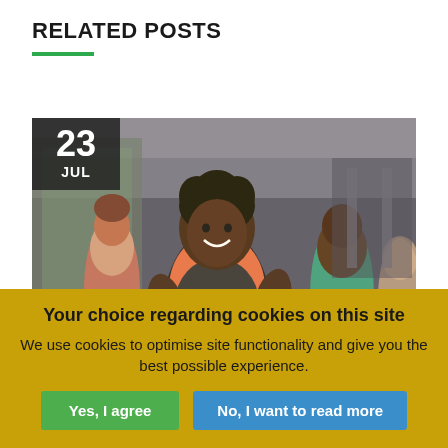RELATED POSTS
[Figure (photo): Group of women dancing/exercising in a gym fitness class, smiling and energetic. A date badge overlay shows '23 JUL' in the top-left corner.]
Your choice regarding cookies on this site
We use cookies to optimise site functionality and give you the best possible experience.
Yes, I agree | No, I want to read more